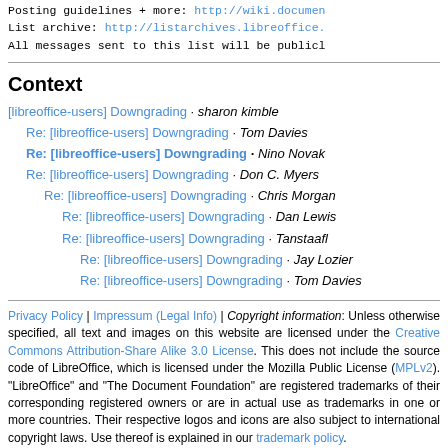Posting guidelines + more: http://wiki.documen...
List archive: http://listarchives.libreoffice...
All messages sent to this list will be publicl...
Context
[libreoffice-users] Downgrading · sharon kimble
Re: [libreoffice-users] Downgrading · Tom Davies
Re: [libreoffice-users] Downgrading · Nino Novak
Re: [libreoffice-users] Downgrading · Don C. Myers
Re: [libreoffice-users] Downgrading · Chris Morgan
Re: [libreoffice-users] Downgrading · Dan Lewis
Re: [libreoffice-users] Downgrading · Tanstaafl
Re: [libreoffice-users] Downgrading · Jay Lozier
Re: [libreoffice-users] Downgrading · Tom Davies
Privacy Policy | Impressum (Legal Info) | Copyright information: Unless otherwise specified, all text and images on this website are licensed under the Creative Commons Attribution-Share Alike 3.0 License. This does not include the source code of LibreOffice, which is licensed under the Mozilla Public License (MPLv2). "LibreOffice" and "The Document Foundation" are registered trademarks of their corresponding registered owners or are in actual use as trademarks in one or more countries. Their respective logos and icons are also subject to international copyright laws. Use thereof is explained in our trademark policy.